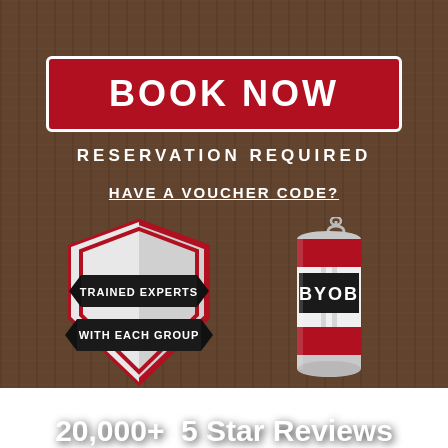BOOK NOW
RESERVATION REQUIRED
HAVE A VOUCHER CODE?
[Figure (illustration): Shield badge icon with text 'TRAINED EXPERTS WITH EACH GROUP' on dark banner ribbons]
[Figure (illustration): BYOB beverage can icon in red and white]
20,000+  5 Star Reviews